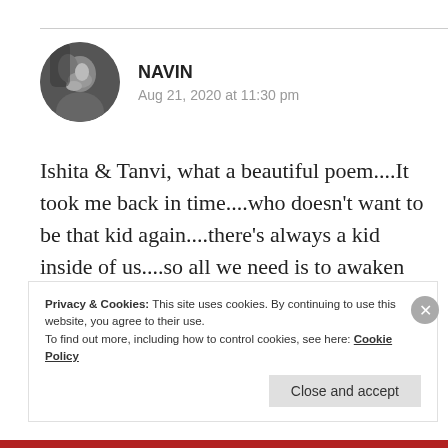[Figure (photo): Circular avatar photo of a person (Navin), black and white portrait, person with beard and hair]
NAVIN
Aug 21, 2020 at 11:30 pm
Ishita & Tanvi, what a beautiful poem....It took me back in time....who doesn't want to be that kid again....there's always a kid inside of us....so all we need is to awaken that kid...Great collab
★ Liked by 1 person
Privacy & Cookies: This site uses cookies. By continuing to use this website, you agree to their use.
To find out more, including how to control cookies, see here: Cookie Policy
Close and accept